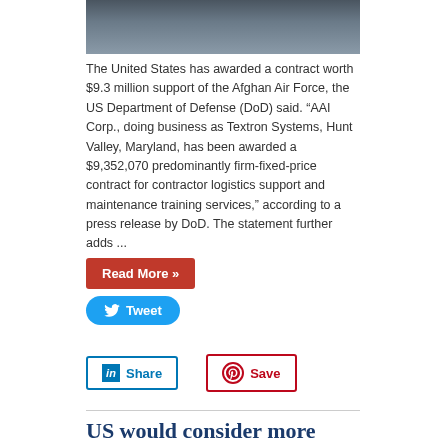[Figure (photo): Partial view of military aircraft on tarmac with personnel in background]
The United States has awarded a contract worth $9.3 million support of the Afghan Air Force, the US Department of Defense (DoD) said. “AAI Corp., doing business as Textron Systems, Hunt Valley, Maryland, has been awarded a $9,352,070 predominantly firm-fixed-price contract for contractor logistics support and maintenance training services,” according to a press release by DoD. The statement further adds ...
Read More »
Tweet
Share
Save
US would consider more